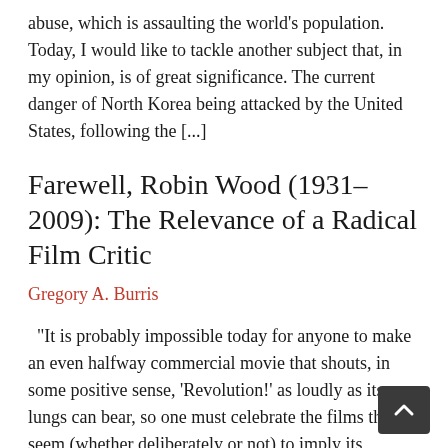abuse, which is assaulting the world's population.  Today, I would like to tackle another subject that, in my opinion, is of great significance. The current danger of North Korea being attacked by the United States, following the [...]
Farewell, Robin Wood (1931–2009): The Relevance of a Radical Film Critic
Gregory A. Burris
“It is probably impossible today for anyone to make an even halfway commercial movie that shouts, in some positive sense, ‘Revolution!’ as loudly as its lungs can bear, so one must celebrate the films that seem (whether deliberately or not) to imply its necessity.” — Robin Wood1 At a time when comedy shows tell [...]
The Empire and the War